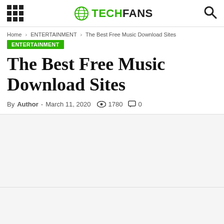TechFans
Home > ENTERTAINMENT > The Best Free Music Download Sites
ENTERTAINMENT
The Best Free Music Download Sites
By Author - March 11, 2020   1780   0